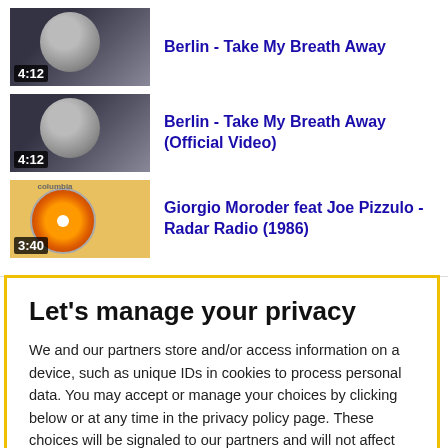Berlin - Take My Breath Away
Berlin - Take My Breath Away (Official Video)
Giorgio Moroder feat Joe Pizzulo - Radar Radio (1986)
Let's manage your privacy
We and our partners store and/or access information on a device, such as unique IDs in cookies to process personal data. You may accept or manage your choices by clicking below or at any time in the privacy policy page. These choices will be signaled to our partners and will not affect browsing data. Read our Cookie and Internet Advertising Policy
Cookies Settings
Accept All Cookies